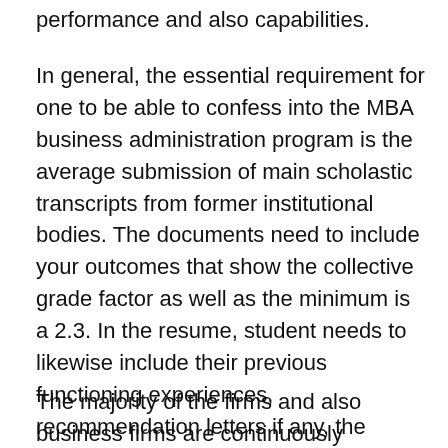performance and also capabilities.
In general, the essential requirement for one to be able to confess into the MBA business administration program is the average submission of main scholastic transcripts from former institutional bodies. The documents need to include your outcomes that show the collective grade factor as well as the minimum is a 2.3. In the resume, student needs to likewise include their previous functioning experiences, recommendation letters if any, the GMAT ratings outcomes and an individual proposition of occupation ambitions.
The majority of the firms and also business firms are continuously intending to utilize